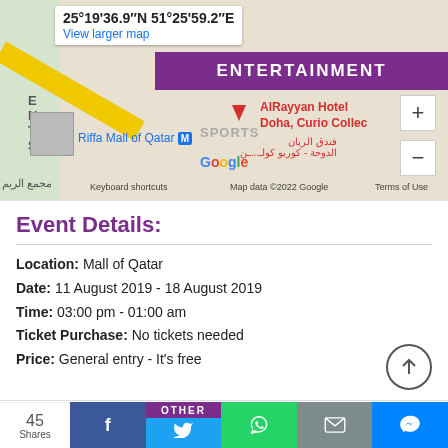[Figure (map): Google Maps screenshot showing location near Mall of Qatar and AlRayyan Hotel Doha, Curio Collection. Coordinates shown: 25°19'36.9"N 51°25'59.2"E]
ENTERTAINMENT
Event Details:
Location: Mall of Qatar
Date: 11 August 2019 - 18 August 2019
Time: 03:00 pm - 01:00 am
Ticket Purchase: No tickets needed
Price: General entry - It's free
OTHER
45 Shares